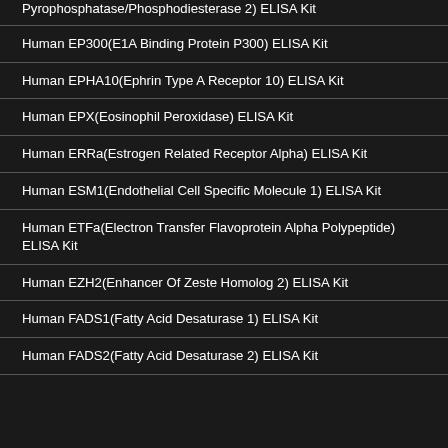Pyrophosphatase/Phosphodiesterase 2) ELISA Kit
Human EP300(E1A Binding Protein P300) ELISA Kit
Human EPHA10(Ephrin Type A Receptor 10) ELISA Kit
Human EPX(Eosinophil Peroxidase) ELISA Kit
Human ERRa(Estrogen Related Receptor Alpha) ELISA Kit
Human ESM1(Endothelial Cell Specific Molecule 1) ELISA Kit
Human ETFa(Electron Transfer Flavoprotein Alpha Polypeptide) ELISA Kit
Human EZH2(Enhancer Of Zeste Homolog 2) ELISA Kit
Human FADS1(Fatty Acid Desaturase 1) ELISA Kit
Human FADS2(Fatty Acid Desaturase 2) ELISA Kit